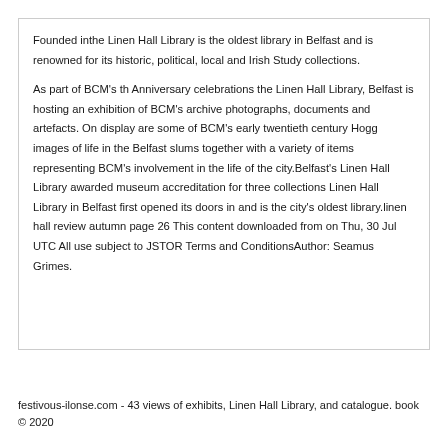Founded inthe Linen Hall Library is the oldest library in Belfast and is renowned for its historic, political, local and Irish Study collections.

As part of BCM's th Anniversary celebrations the Linen Hall Library, Belfast is hosting an exhibition of BCM's archive photographs, documents and artefacts. On display are some of BCM's early twentieth century Hogg images of life in the Belfast slums together with a variety of items representing BCM's involvement in the life of the city.Belfast's Linen Hall Library awarded museum accreditation for three collections Linen Hall Library in Belfast first opened its doors in and is the city's oldest library.linen hall review autumn page 26 This content downloaded from on Thu, 30 Jul UTC All use subject to JSTOR Terms and ConditionsAuthor: Seamus Grimes.
festivous-ilonse.com - 43 views of exhibits, Linen Hall Library, and catalogue. book © 2020